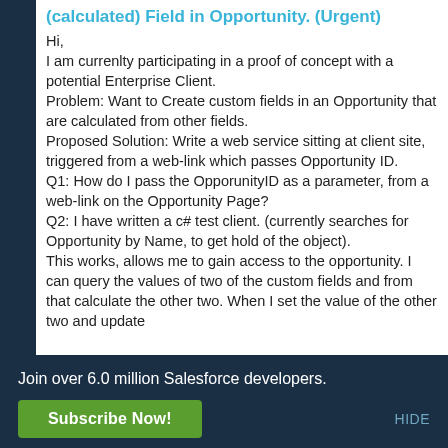(calculated) Field in Opportunity. (Urgent)
Hi,
I am currenlty participating in a proof of concept with a potential Enterprise Client.
Problem: Want to Create custom fields in an Opportunity that are calculated from other fields.
Proposed Solution: Write a web service sitting at client site, triggered from a web-link which passes Opportunity ID.
Q1: How do I pass the OpporunityID as a parameter, from a web-link on the Opportunity Page?
Q2: I have written a c# test client. (currently searches for Opportunity by Name, to get hold of the object).
This works, allows me to gain access to the opportunity. I can query the values of two of the custom fields and from that calculate the other two. When I set the value of the other two and update
Join over 6.0 million Salesforce developers.
Subscribe Now!
HIDE